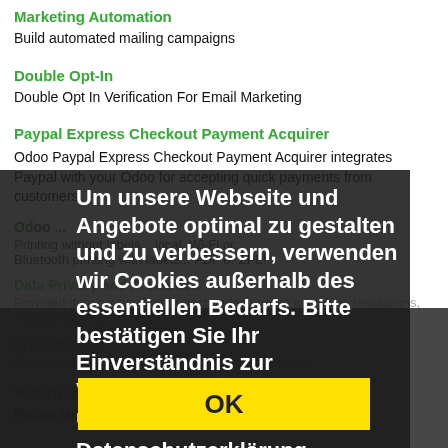Marketing Automation
Build automated mailing campaigns
Double Opt-In
Double Opt In Verification For Email Marketing
Paypal Express Checkout Payment Acquirer
Odoo Paypal Express Checkout Payment Acquirer integrates Paypal with your Odoo for accepting quick payments from customers.
Um unsere Webseite und Angebote optimal zu gestalten und zu verbessern, verwenden wir Cookies außerhalb des essentiellen Bedarfs. Bitte bestätigen Sie Ihr Einverständnis zur Verwendung dieser Cookies über diesen Button.
Datenschutzerklärung
OK
Product State
Module introducing a state field on product template.
Return Merchandise Authorization Management
Return Merchandise Authorization (RMA)